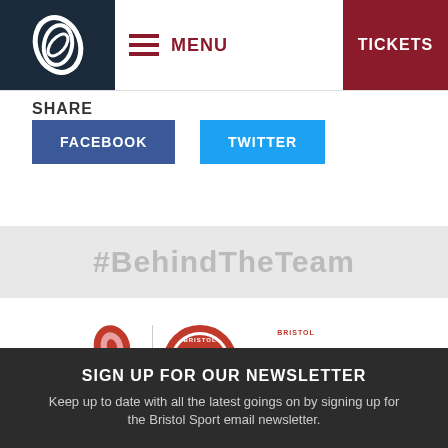MENU | TICKETS
SHARE
FACEBOOK
TWITTER
#BehindTheTeam
[Figure (logo): Bristol Sport logo with red spiral icon and text BRISTOL SPORT; Bristol City FC circular crest; Bristol Flyers Basketball logo; partial fourth logo]
SIGN UP FOR OUR NEWSLETTER
Keep up to date with all the latest goings on by signing up for the Bristol Sport email newsletter.